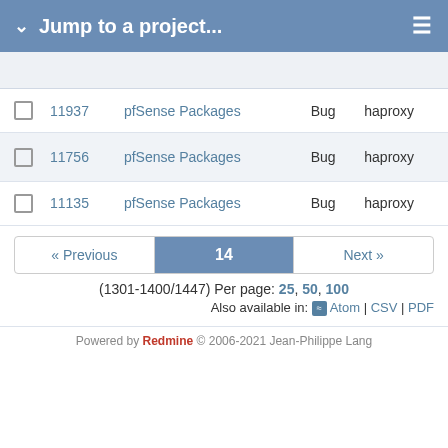Jump to a project...
|  | # | Project | Tracker | Target version |
| --- | --- | --- | --- | --- |
|  | 11937 | pfSense Packages | Bug | haproxy |
|  | 11756 | pfSense Packages | Bug | haproxy |
|  | 11135 | pfSense Packages | Bug | haproxy |
« Previous  14  Next »
(1301-1400/1447) Per page: 25, 50, 100
Also available in: Atom | CSV | PDF
Powered by Redmine © 2006-2021 Jean-Philippe Lang